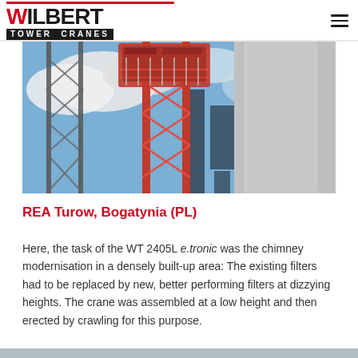WILBERT TOWER CRANES
[Figure (photo): Close-up photograph of a red tower crane (WT 2405L e.tronic) against a blue sky with clouds, positioned next to a large concrete chimney or column structure. The crane's lattice mast and working platform are visible.]
REA Turow, Bogatynia (PL)
Here, the task of the WT 2405L e.tronic was the chimney modernisation in a densely built-up area: The existing filters had to be replaced by new, better performing filters at dizzying heights. The crane was assembled at a low height and then erected by crawling for this purpose.